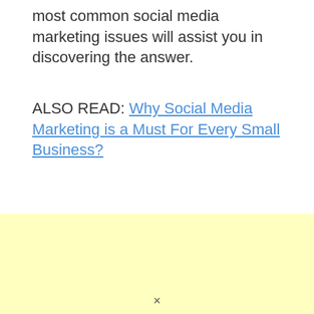most common social media marketing issues will assist you in discovering the answer.
ALSO READ: Why Social Media Marketing is a Must For Every Small Business?
[Figure (other): Light yellow advertisement or placeholder box]
×